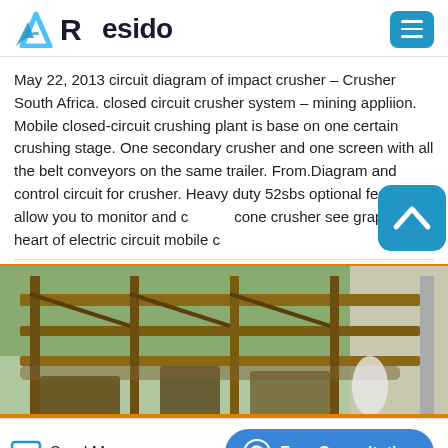Resido
May 22, 2013 circuit diagram of impact crusher – Crusher South Africa. closed circuit crusher system – mining appliion. Mobile closed-circuit crushing plant is base on one certain crushing stage. One secondary crusher and one screen with all the belt conveyors on the same trailer. From.Diagram and control circuit for crusher. Heavy duty 52sbs optional features allow you to monitor and control cone crusher see graph at the heart of electric circuit mobile c
[Figure (photo): Photograph of a mobile crushing plant or industrial structure with metal frame, conveyors and machinery components visible, taken outdoors.]
Send Message | Free Consultation